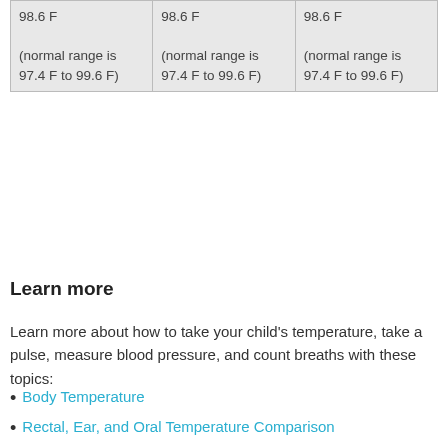| 98.6 F (normal range is 97.4 F to 99.6 F) | 98.6 F (normal range is 97.4 F to 99.6 F) | 98.6 F (normal range is 97.4 F to 99.6 F) |
Learn more
Learn more about how to take your child's temperature, take a pulse, measure blood pressure, and count breaths with these topics:
Body Temperature
Rectal, Ear, and Oral Temperature Comparison